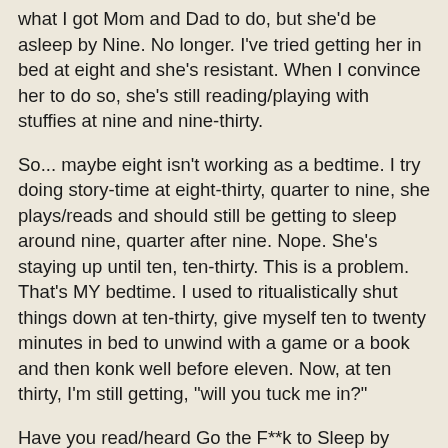what I got Mom and Dad to do, but she'd be asleep by Nine. No longer. I've tried getting her in bed at eight and she's resistant. When I convince her to do so, she's still reading/playing with stuffies at nine and nine-thirty.
So... maybe eight isn't working as a bedtime. I try doing story-time at eight-thirty, quarter to nine, she plays/reads and should still be getting to sleep around nine, quarter after nine. Nope. She's staying up until ten, ten-thirty. This is a problem. That's MY bedtime. I used to ritualistically shut things down at ten-thirty, give myself ten to twenty minutes in bed to unwind with a game or a book and then konk well before eleven. Now, at ten thirty, I'm still getting, "will you tuck me in?"
Have you read/heard Go the F**k to Sleep by Adam Mansbach? There is a man who knows what I'm talking about. Now I'm staying up later, missing my usual one or two hours of quiet writing time (which is now filled with story and multiple request hour) so I'm staying up later to try to finish what I've set for myself to do. Like this blog post. I should have written this earlier today, or a little later, once Delilah is